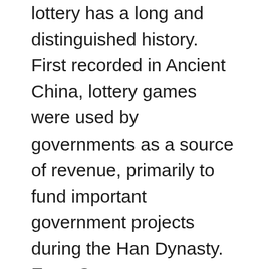lottery has a long and distinguished history. First recorded in Ancient China, lottery games were used by governments as a source of revenue, primarily to fund important government projects during the Han Dynasty. Even George Washington, who invented the lottery, had several lotteries and even sold tickets for more than $15,000 each. In the United States, lottery games have grown tremendously, becoming a natural part of state governments' revenue sources. Even today, you can find lotteries involving instant billionaire winners!
Although lottery concierge services appeared on the scene in the early 2000s, they have